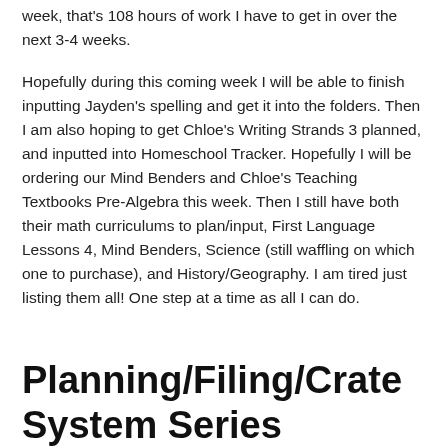week, that's 108 hours of work I have to get in over the next 3-4 weeks.
Hopefully during this coming week I will be able to finish inputting Jayden's spelling and get it into the folders. Then I am also hoping to get Chloe's Writing Strands 3 planned, and inputted into Homeschool Tracker. Hopefully I will be ordering our Mind Benders and Chloe's Teaching Textbooks Pre-Algebra this week. Then I still have both their math curriculums to plan/input, First Language Lessons 4, Mind Benders, Science (still waffling on which one to purchase), and History/Geography. I am tired just listing them all! One step at a time as all I can do.
Planning/Filing/Crate System Series